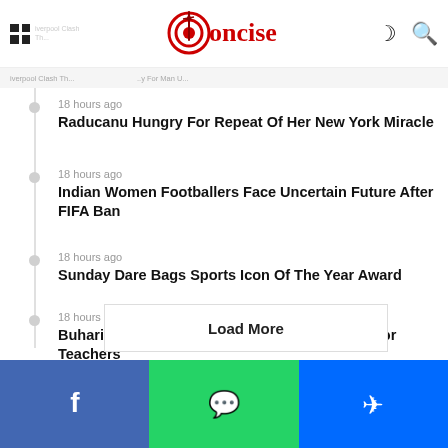Concise News
18 hours ago — Raducanu Hungry For Repeat Of Her New York Miracle
18 hours ago — Indian Women Footballers Face Uncertain Future After FIFA Ban
18 hours ago — Sunday Dare Bags Sports Icon Of The Year Award
18 hours ago — Buhari In Borno, Opens Quarters Zulum Built For Teachers
18 hours ago — Police Gives Update On Singer BNXN
Load More